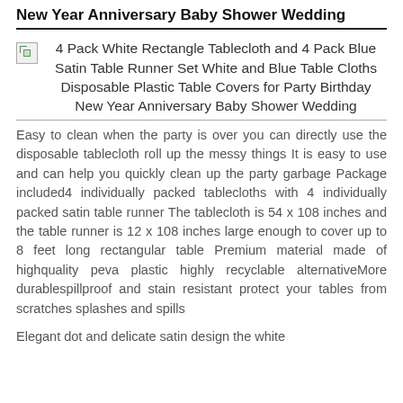New Year Anniversary Baby Shower Wedding
[Figure (photo): Broken image placeholder for product photo]
4 Pack White Rectangle Tablecloth and 4 Pack Blue Satin Table Runner Set White and Blue Table Cloths Disposable Plastic Table Covers for Party Birthday New Year Anniversary Baby Shower Wedding
Easy to clean when the party is over you can directly use the disposable tablecloth roll up the messy things It is easy to use and can help you quickly clean up the party garbage Package included4 individually packed tablecloths with 4 individually packed satin table runner The tablecloth is 54 x 108 inches and the table runner is 12 x 108 inches large enough to cover up to 8 feet long rectangular table Premium material made of highquality peva plastic highly recyclable alternativeMore durablespillproof and stain resistant protect your tables from scratches splashes and spills
Elegant dot and delicate satin design the white